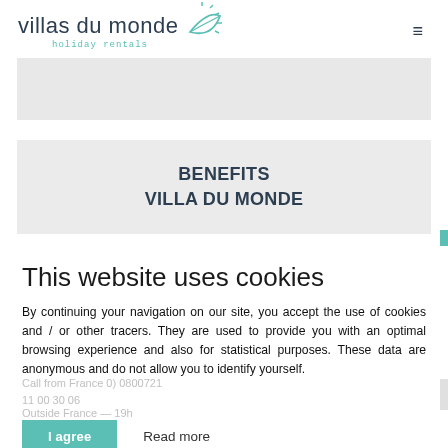villas du monde holiday rentals
[Figure (screenshot): Villas du Monde holiday rentals website screenshot showing logo, gray banner, BENEFITS VILLA DU MONDE section, and a cookie consent overlay]
BENEFITS
VILLA DU MONDE
This website uses cookies
By continuing your navigation on our site, you accept the use of cookies and / or other tracers. They are used to provide you with an optimal browsing experience and also for statistical purposes. These data are anonymous and do not allow you to identify yourself.
I agree
Read more